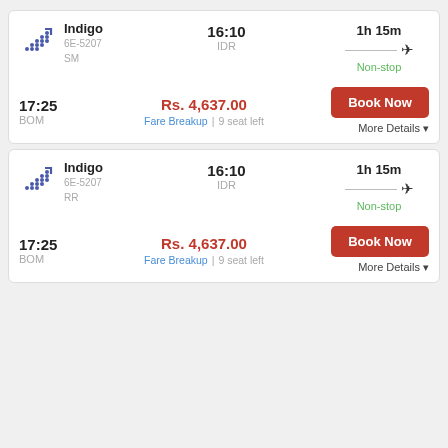Indigo 6E-5207 SM | 16:10 IDR | 1h 15m Non-stop | 17:25 BOM | Rs. 4,637.00 | Fare Breakup | 9 seat left | Book Now | More Details
Indigo 6E-5207 RR | 16:10 IDR | 1h 15m Non-stop | 17:25 BOM | Rs. 4,637.00 | Fare Breakup | 9 seat left | Book Now | More Details